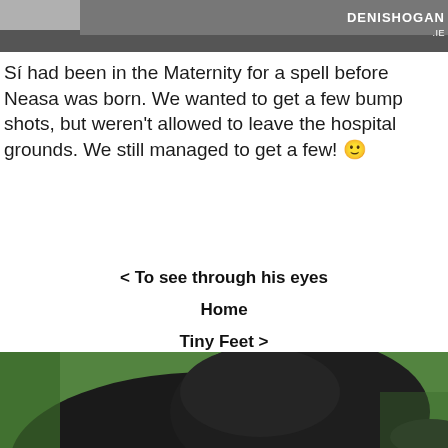[Figure (photo): Top portion of outdoor photo with 'DENISHOGAN.IE' watermark in upper right corner, showing snow or white ground and dark pavement]
Sí had been in the Maternity for a spell before Neasa was born. We wanted to get a few bump shots, but weren't allowed to leave the hospital grounds. We still managed to get a few! 🙂
< To see through his eyes
Home
Tiny Feet >
[Figure (photo): Close-up photo of a dark-furred dog (likely a border collie) with a blurred green background]